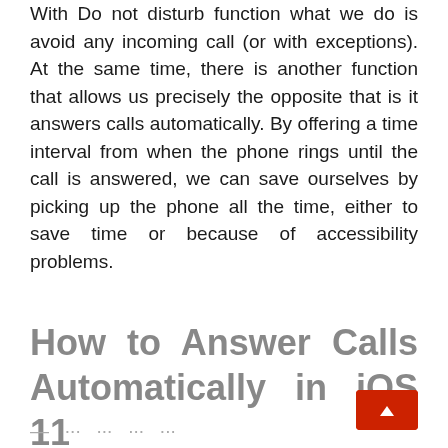With Do not disturb function what we do is avoid any incoming call (or with exceptions). At the same time, there is another function that allows us precisely the opposite that is it answers calls automatically. By offering a time interval from when the phone rings until the call is answered, we can save ourselves by picking up the phone all the time, either to save time or because of accessibility problems.
How to Answer Calls Automatically in iOS 11
— ···  ···  ···  ···